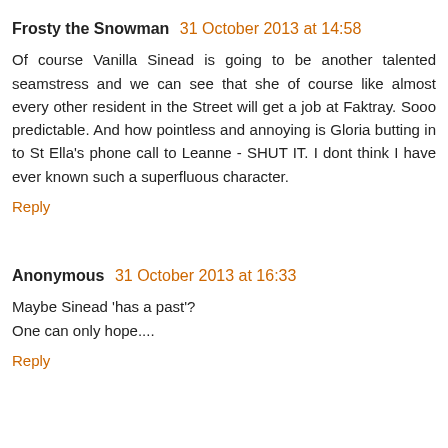Frosty the Snowman  31 October 2013 at 14:58
Of course Vanilla Sinead is going to be another talented seamstress and we can see that she of course like almost every other resident in the Street will get a job at Faktray. Sooo predictable. And how pointless and annoying is Gloria butting in to St Ella's phone call to Leanne - SHUT IT. I dont think I have ever known such a superfluous character.
Reply
Anonymous  31 October 2013 at 16:33
Maybe Sinead 'has a past'?
One can only hope....
Reply
Anonymous  31 October 2013 at 18:39